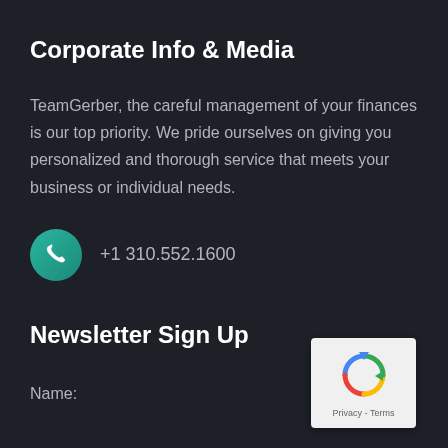Corporate Info & Media
TeamGerber, the careful management of your finances is our top priority. We pride ourselves on giving you personalized and thorough service that meets your business or individual needs.
+1 310.552.1600
Newsletter Sign Up
Name:
[Figure (logo): Google reCAPTCHA widget with circular arrow logo and Privacy - Terms links]